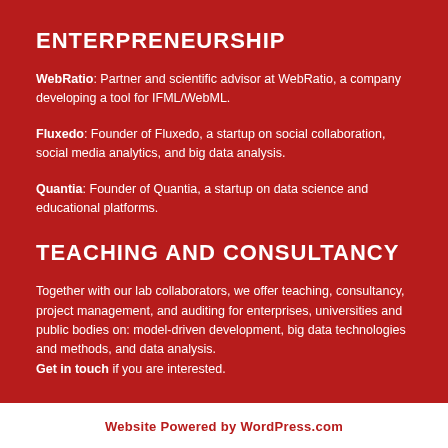ENTERPRENEURSHIP
WebRatio: Partner and scientific advisor at WebRatio, a company developing a tool for IFML/WebML.
Fluxedo: Founder of Fluxedo, a startup on social collaboration, social media analytics, and big data analysis.
Quantia: Founder of Quantia, a startup on data science and educational platforms.
TEACHING AND CONSULTANCY
Together with our lab collaborators, we offer teaching, consultancy, project management, and auditing for enterprises, universities and public bodies on: model-driven development, big data technologies and methods, and data analysis.
Get in touch if you are interested.
Website Powered by WordPress.com